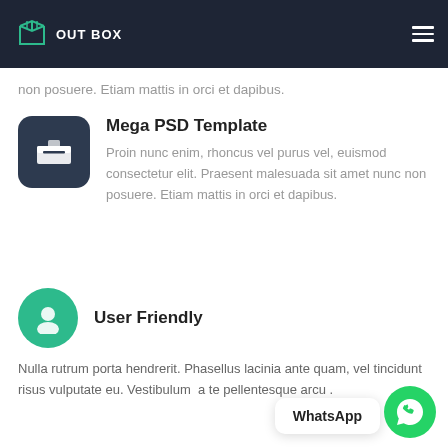OUTBOX
non posuere. Etiam mattis in orci et dapibus.
Mega PSD Template
Proin nunc enim, rhoncus vel purus vel, euismod consectetur elit. Praesent malesuada sit amet nunc non posuere. Etiam mattis in orci et dapibus.
User Friendly
Nulla rutrum porta hendrerit. Phasellus lacinia ante quam, vel tincidunt risus vulputate eu. Vestibulum a te pellentesque arcu .
[Figure (other): WhatsApp floating button with tooltip showing 'WhatsApp']